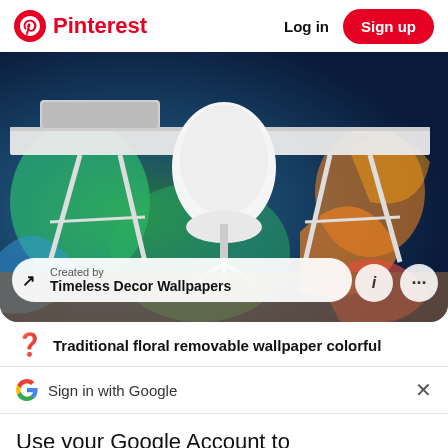Pinterest | Log in | Sign up
[Figure (photo): A home office desk with trestle legs and a white modern chair, with colorful floral wallpaper visible in the background. Overlay shows 'Created by Timeless Decor Wallpapers' with info and more-options buttons.]
Traditional floral removable wallpaper colorful
Sign in with Google
Use your Google Account to